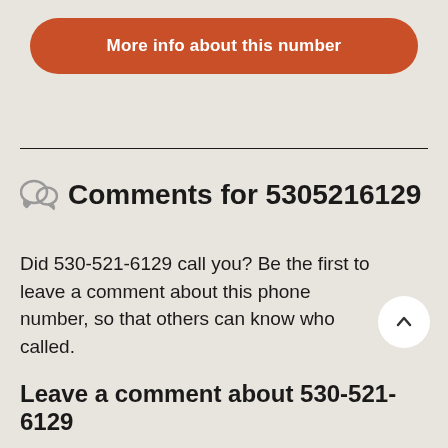More info about this number
Comments for 5305216129
Did 530-521-6129 call you? Be the first to leave a comment about this phone number, so that others can know who called.
Leave a comment about 530-521-6129